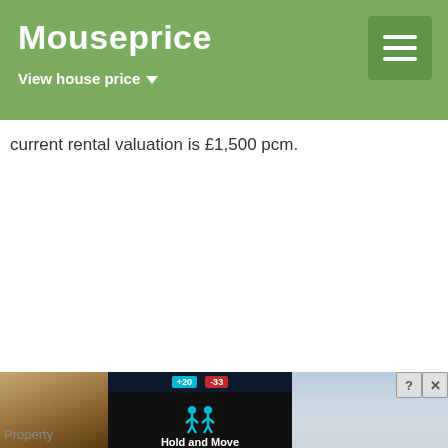Mouseprice — View house price
current rental valuation is £1,500 pcm.
Property Attributes
[Figure (screenshot): Bottom overlay advertisement showing a mobile game ad for 'Hold and Move' with score indicators +20 and -33, a person icon, flanked by outdoor property/landscape photos on both sides, with close (X) and help (?) buttons.]